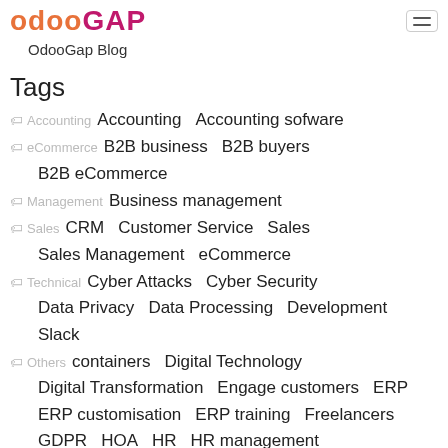OdooGap
OdooGap Blog
Tags
Accounting — Accounting, Accounting sofware
eCommerce — B2B business, B2B buyers, B2B eCommerce
Management — Business management
Sales — CRM, Customer Service, Sales, Sales Management, eCommerce
Technical — Cyber Attacks, Cyber Security, Data Privacy, Data Processing, Development, Slack
Others — containers, Digital Technology, Digital Transformation, Engage customers, ERP, ERP customisation, ERP training, Freelancers, GDPR, HOA, HR, HR management